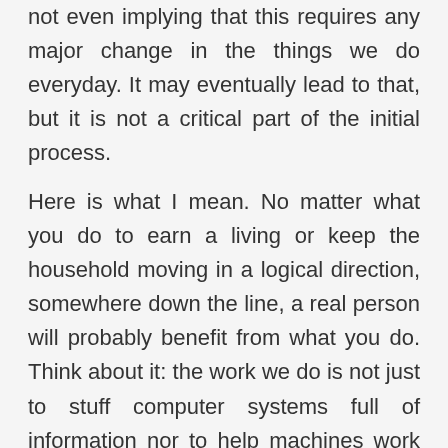not even implying that this requires any major change in the things we do everyday. It may eventually lead to that, but it is not a critical part of the initial process.
Here is what I mean. No matter what you do to earn a living or keep the household moving in a logical direction, somewhere down the line, a real person will probably benefit from what you do. Think about it: the work we do is not just to stuff computer systems full of information nor to help machines work better. It is not just to take people's money so we will have a paycheck at the end of the week. It is not just filling out forms,